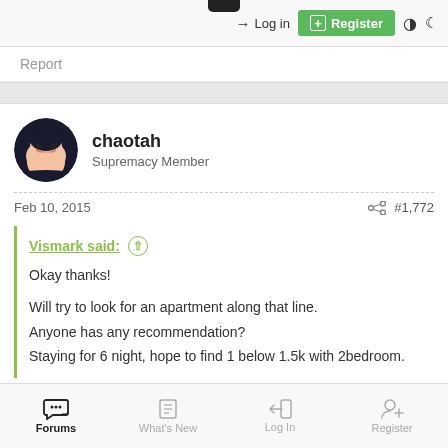Log in  Register
Report
[Figure (illustration): Forum user avatar: anime-style character with dark hair]
chaotah
Supremacy Member
Feb 10, 2015  #1,772
Vismark said: ↑

Okay thanks!

Will try to look for an apartment along that line.
Anyone has any recommendation?
Staying for 6 night, hope to find 1 below 1.5k with 2bedroom.
Forums  What's New  Log In  Register